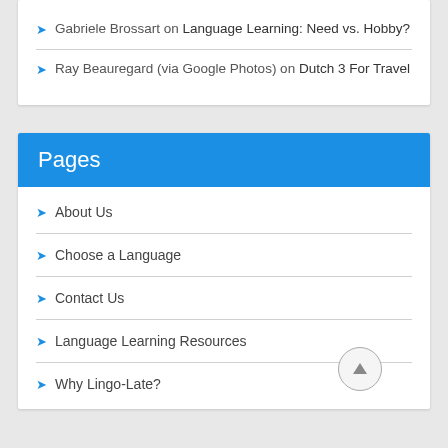Gabriele Brossart on Language Learning: Need vs. Hobby?
Ray Beauregard (via Google Photos) on Dutch 3 For Travel
Pages
About Us
Choose a Language
Contact Us
Language Learning Resources
Why Lingo-Late?